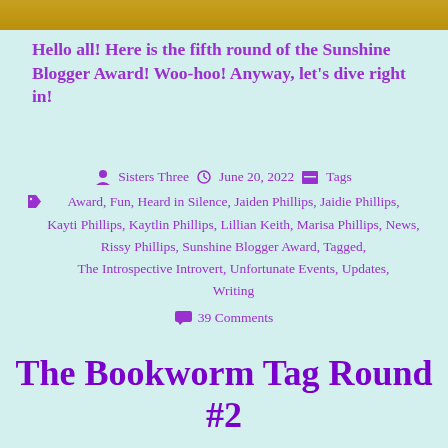[Figure (photo): Top image bar showing a partial photo with warm yellow/golden tones]
Hello all! Here is the fifth round of the Sunshine Blogger Award! Woo-hoo! Anyway, let's dive right in!
Sisters Three   June 20, 2022   Tags
Award, Fun, Heard in Silence, Jaiden Phillips, Jaidie Phillips, Kayti Phillips, Kaytlin Phillips, Lillian Keith, Marisa Phillips, News, Rissy Phillips, Sunshine Blogger Award, Tagged, The Introspective Introvert, Unfortunate Events, Updates, Writing
39 Comments
The Bookworm Tag Round #2